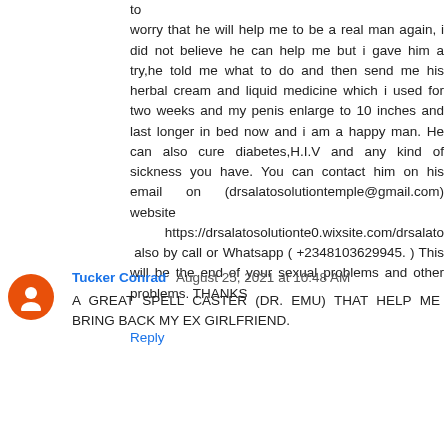to worry that he will help me to be a real man again, i did not believe he can help me but i gave him a try,he told me what to do and then send me his herbal cream and liquid medicine which i used for two weeks and my penis enlarge to 10 inches and last longer in bed now and i am a happy man. He can also cure diabetes,H.I.V and any kind of sickness you have. You can contact him on his email on (drsalatosolutiontemple@gmail.com) website https://drsalatosolutionte0.wixsite.com/drsalato also by call or Whatsapp ( +2348103629945. ) This will be the end of your sexual problems and other problems. THANKS
Reply
Tucker Conrad August 25, 2021 at 10:48 AM
A GREAT SPELL CASTER (DR. EMU) THAT HELP ME BRING BACK MY EX GIRLFRIEND.